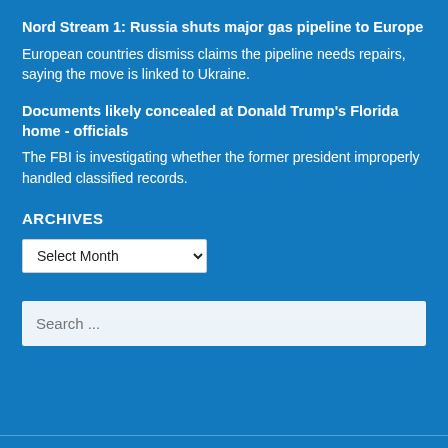Nord Stream 1: Russia shuts major gas pipeline to Europe
European countries dismiss claims the pipeline needs repairs, saying the move is linked to Ukraine.
Documents likely concealed at Donald Trump's Florida home - officials
The FBI is investigating whether the former president improperly handled classified records.
ARCHIVES
Select Month
Search ...